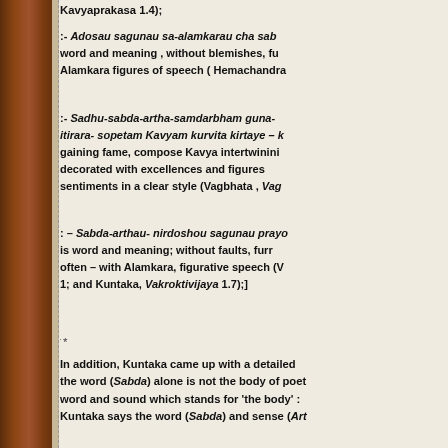Kavyaprakasa 1.4);
:- Adosau sagunau sa-alamkarau cha sab... word and meaning , without blemishes, fu... Alamkara figures of speech ( Hemachandra...
:- Sadhu-sabda-artha-samdarbham guna-... itirara- sopetam Kavyam kurvita kirtaye – ... gaining fame, compose Kavya intertwinini... decorated with excellences and figures ... sentiments in a clear style (Vagbhata , Vag...
: – Sabda-arthau- nirdoshou sagunau prayo... is word and meaning; without faults, furr... often – with Alamkara, figurative speech (... 1; and Kuntaka, Vakroktivijaya 1.7);}
***
In addition, Kuntaka came up with a detailed ... the word (Sabda) alone is not the body of poet... word and sound which stands for 'the body' :... Kuntaka says the word (Sabda) and sense (Art...